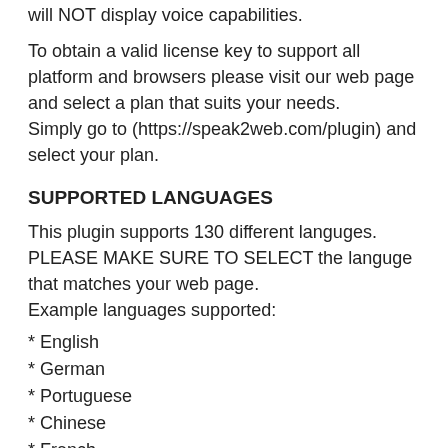will NOT display voice capabilities.
To obtain a valid license key to support all platform and browsers please visit our web page and select a plan that suits your needs.
Simply go to (https://speak2web.com/plugin) and select your plan.
SUPPORTED LANGUAGES
This plugin supports 130 different languges. PLEASE MAKE SURE TO SELECT the languge that matches your web page.
Example languages supported:
* English
* German
* Portuguese
* Chinese
* French
* J...